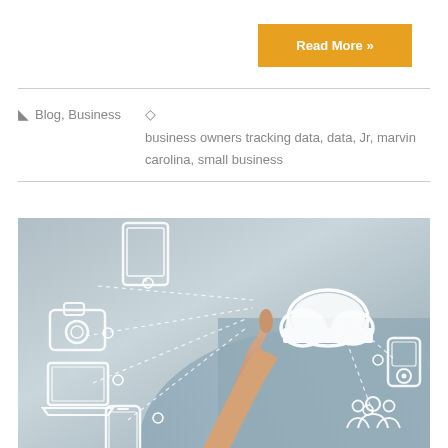Read More »
Blog, Business   business owners tracking data, data, Jr, marvin carolina, small business
[Figure (photo): Person pointing finger at a cloud computing icon surrounded by connected device icons including tablet, camera, laptop, smartphone, music player, and people/group icon, on a grey gradient background]